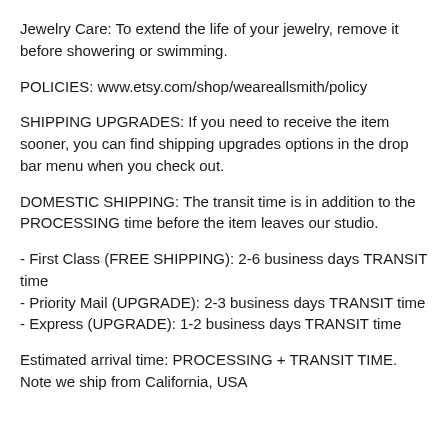Jewelry Care: To extend the life of your jewelry, remove it before showering or swimming.
POLICIES: www.etsy.com/shop/weareallsmith/policy
SHIPPING UPGRADES: If you need to receive the item sooner, you can find shipping upgrades options in the drop bar menu when you check out.
DOMESTIC SHIPPING: The transit time is in addition to the PROCESSING time before the item leaves our studio.
- First Class (FREE SHIPPING): 2-6 business days TRANSIT time
- Priority Mail (UPGRADE): 2-3 business days TRANSIT time
- Express (UPGRADE): 1-2 business days TRANSIT time
Estimated arrival time: PROCESSING + TRANSIT TIME. Note we ship from California, USA